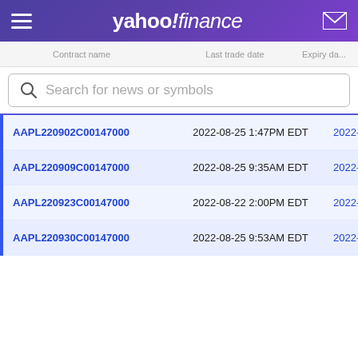yahoo!finance
Search for news or symbols
| Contract name | Last trade date | Expiry da... |
| --- | --- | --- |
| AAPL220902C00147000 | 2022-08-25 1:47PM EDT | 2022-09-... |
| AAPL220909C00147000 | 2022-08-25 9:35AM EDT | 2022-09-... |
| AAPL220923C00147000 | 2022-08-22 2:00PM EDT | 2022-09-... |
| AAPL220930C00147000 | 2022-08-25 9:53AM EDT | 2022-09-... |